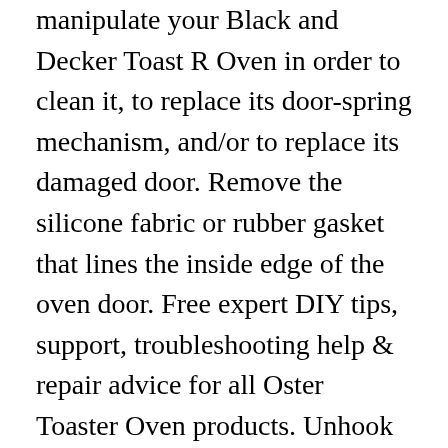manipulate your Black and Decker Toast R Oven in order to clean it, to replace its door-spring mechanism, and/or to replace its damaged door. Remove the silicone fabric or rubber gasket that lines the inside edge of the oven door. Free expert DIY tips, support, troubleshooting help & repair advice for all Oster Toaster Oven products. Unhook the bottom of the the display panel from the toaster unit. screw(s) that connect it to the side of the oven. Clean Removable Parts: Place your toast oven on a piece of newspaper to catch the excess crumbs. Attach the outer cover, back first and then bottom. Separate the right side of the door from the unit as in the